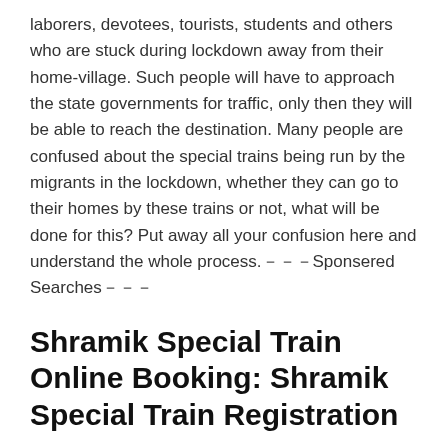laborers, devotees, tourists, students and others who are stuck during lockdown away from their home-village. Such people will have to approach the state governments for traffic, only then they will be able to reach the destination. Many people are confused about the special trains being run by the migrants in the lockdown, whether they can go to their homes by these trains or not, what will be done for this? Put away all your confusion here and understand the whole process.－－－Sponsered Searches－－－
Shramik Special Train Online Booking: Shramik Special Train Registration
The central government has decided to run special trains (labor trains) from May 1 to reach the home state of migrant